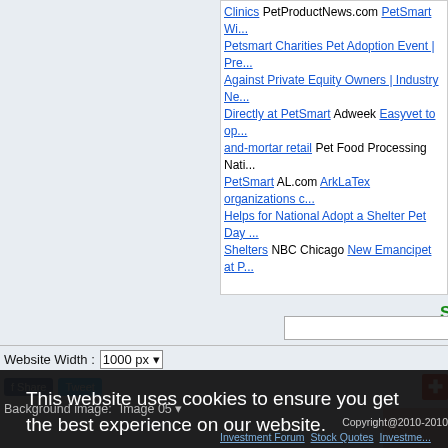Clinics PetProductNews.com PetSmart Wi... Petsmart Charities Pet Adoption Event | Pre... Against Private Equity Owners | Industry Ne... Directly at PetSmart Adweek Easyvet to op... and-mortar retail Pet Food Processing Nati... PetSmart AL.com ArkLaTex organizations c... Helps for National Adopt a Shelter Pet Day ... Shelters NBC Chicago New Emancipet at P...
Website Width: 1000 px
This website uses cookies to ensure you get the best experience on our website. Learn more
Got it!
Background image: Image 05
Copyright@2010-2010
Investment Forum Stock Quotes Investme...